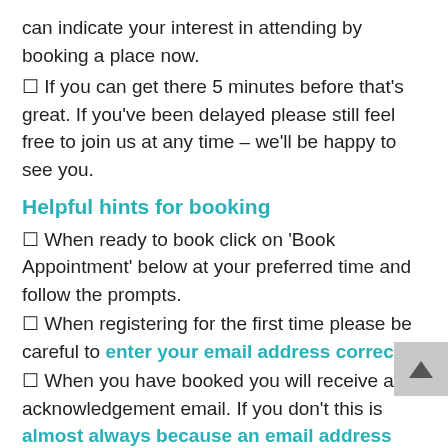can indicate your interest in attending by booking a place now.
☐ If you can get there 5 minutes before that's great. If you've been delayed please still feel free to join us at any time – we'll be happy to see you.
Helpful hints for booking
☐ When ready to book click on 'Book Appointment' below at your preferred time and follow the prompts.
☐ When registering for the first time please be careful to enter your email address correctly.
☐ When you have booked you will receive an acknowledgement email. If you don't this is almost always because an email address has been entered incorrectly. Your appointment will still have registered on our system so email us at